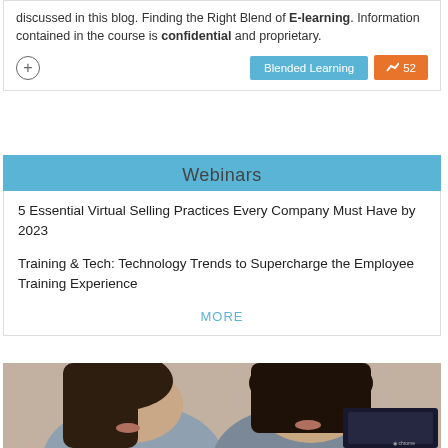discussed in this blog. Finding the Right Blend of E-learning. Information contained in the course is confidential and proprietary.
Blended Learning · 52
Webinars
5 Essential Virtual Selling Practices Every Company Must Have by 2023
Training & Tech: Technology Trends to Supercharge the Employee Training Experience
MORE
[Figure (photo): Two women sitting together looking at a laptop, photographed from chest up, blurred background.]